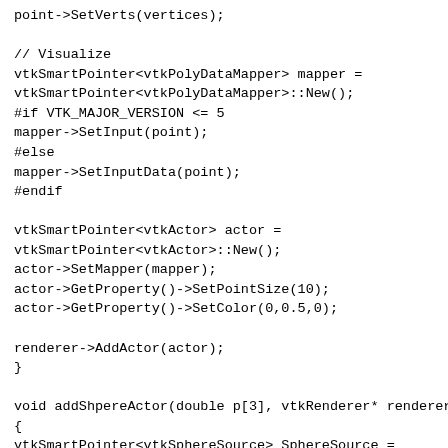point->SetVerts(vertices);

// Visualize
vtkSmartPointer<vtkPolyDataMapper> mapper =
vtkSmartPointer<vtkPolyDataMapper>::New();
#if VTK_MAJOR_VERSION <= 5
mapper->SetInput(point);
#else
mapper->SetInputData(point);
#endif

vtkSmartPointer<vtkActor> actor =
vtkSmartPointer<vtkActor>::New();
actor->SetMapper(mapper);
actor->GetProperty()->SetPointSize(10);
actor->GetProperty()->SetColor(0,0.5,0);

renderer->AddActor(actor);
}

void addShpereActor(double p[3], vtkRenderer* renderer)
{
vtkSmartPointer<vtkSphereSource> SphereSource =
vtkSmartPointer<vtkSphereSource>::New();
SphereSource->SetCenter(p);
SphereSource->SetRadius(0.01);
SphereSource->Update();

vtkSmartPointer<vtkPolyDataMapper> Mapper =
vtkSmartPointer<vtkPolyDataMapper>::New();